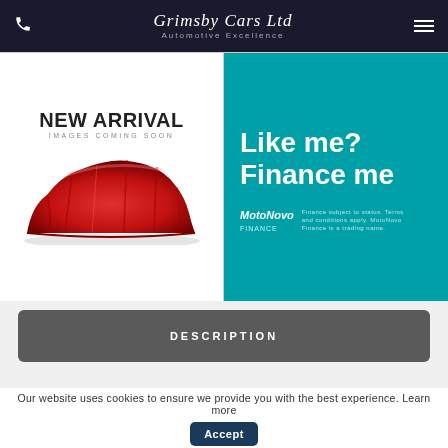Grimsby Cars Ltd — Automotive Excellence
[Figure (photo): New Arrival placeholder image with red draped car silhouette and text 'NEW ARRIVAL IMAGES COMING SOON']
[Figure (illustration): MotoNovo Finance banner: teal/cyan background with white text 'Like me? Finance me' and MotoNovo Finance logo]
DESCRIPTION
BROCHURE
Our website uses cookies to ensure we provide you with the best experience. Learn more
Accept